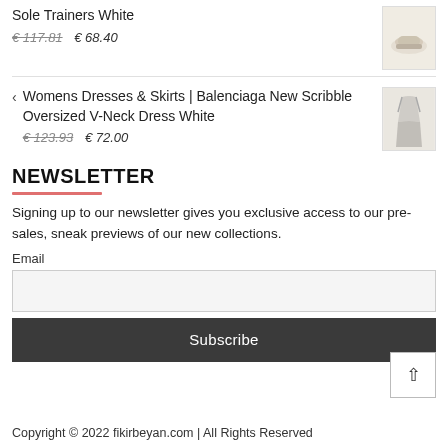Sole Trainers White
€ 117.81   € 68.40
< Womens Dresses & Skirts | Balenciaga New Scribble Oversized V-Neck Dress White
€ 123.93   € 72.00
NEWSLETTER
Signing up to our newsletter gives you exclusive access to our pre-sales, sneak previews of our new collections.
Email
Subscribe
Copyright © 2022 fikirbeyan.com | All Rights Reserved